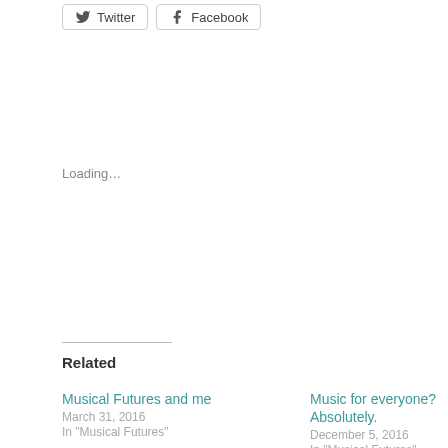[Figure (other): Social share buttons for Twitter and Facebook]
Loading…
Related
Musical Futures and me
March 31, 2016
In "Musical Futures"
Music for everyone? Absolutely.
December 5, 2016
In "Musical Futures"
From the archives: Do you have to be a specialist to teach music? July 2016
July 5, 2019
In "From the archives"